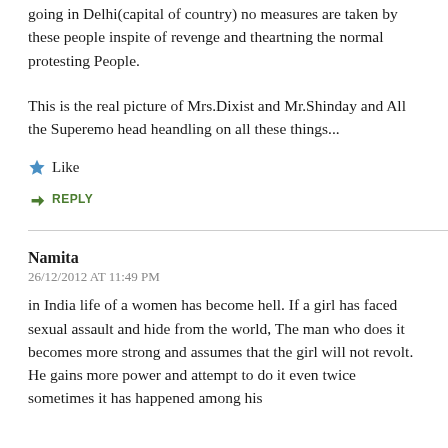going in Delhi(capital of country) no measures are taken by these people inspite of revenge and theartning the normal protesting People.
This is the real picture of Mrs.Dixist and Mr.Shinday and All the Superemo head heandling on all these things...
Like
REPLY
Namita
26/12/2012 AT 11:49 PM
in India life of a women has become hell. If a girl has faced sexual assault and hide from the world, The man who does it becomes more strong and assumes that the girl will not revolt. He gains more power and attempt to do it even twice sometimes it has happened among his